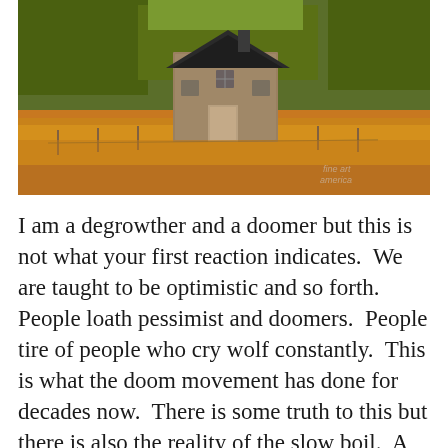[Figure (photo): Photograph of an abandoned stone farmhouse in the middle of a dry golden field with trees in the background. A watermark reading 'fine art america' is visible in the lower right corner.]
I am a degrowther and a doomer but this is not what your first reaction indicates.  We are taught to be optimistic and so forth.  People loath pessimist and doomers.  People tire of people who cry wolf constantly.  This is what the doom movement has done for decades now.  There is some truth to this but there is also the reality of the slow boil.  A frog will